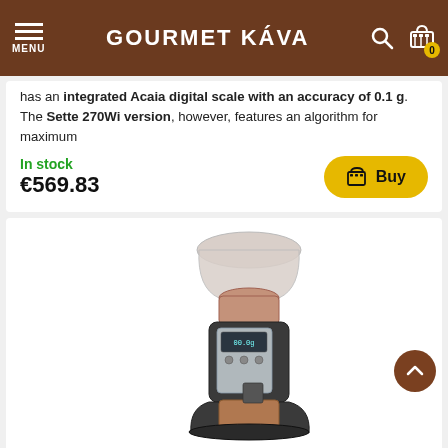GOURMET KÁVA
has an integrated Acaia digital scale with an accuracy of 0.1 g. The Sette 270Wi version, however, features an algorithm for maximum
In stock
€569.83
Buy
[Figure (photo): Photo of Baratza Sette 30 AP coffee grinder with clear hopper on top and dark body]
Grinder Baratza Sette 30 AP